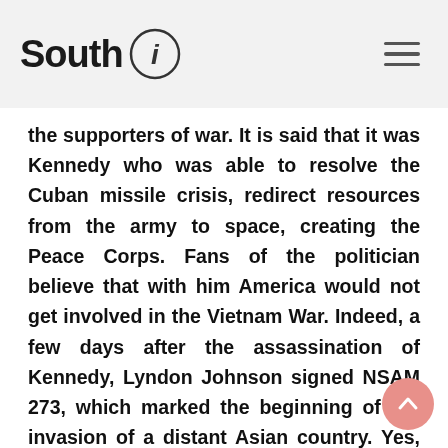South i
the supporters of war. It is said that it was Kennedy who was able to resolve the Cuban missile crisis, redirect resources from the army to space, creating the Peace Corps. Fans of the politician believe that with him America would not get involved in the Vietnam War. Indeed, a few days after the assassination of Kennedy, Lyndon Johnson signed NSAM 273, which marked the beginning of the invasion of a distant Asian country. Yes, and Defense Secretary Robert McNamara said that Kennedy could smooth out the conflict, and not resolve it with the help of weapons, as his successor did. In fact, all this is a beautiful myth. Kennedy himself along